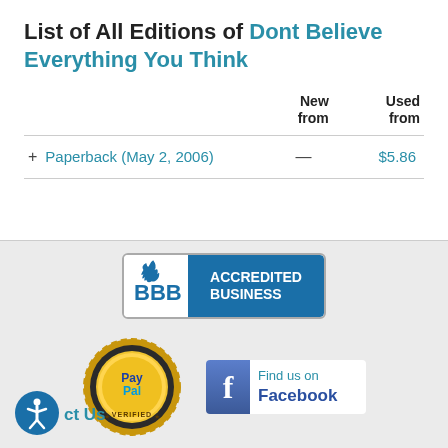List of All Editions of Dont Believe Everything You Think
|  | New from | Used from |
| --- | --- | --- |
| + Paperback (May 2, 2006) | — | $5.86 |
[Figure (logo): BBB Accredited Business badge]
[Figure (logo): PayPal Verified seal]
[Figure (logo): Find us on Facebook badge]
[Figure (logo): Accessibility icon with text 'ct Us']